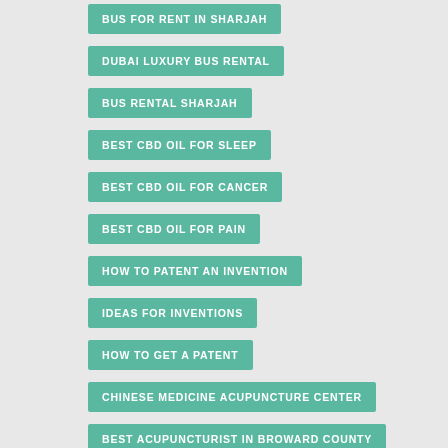BUS FOR RENT IN SHARJAH
DUBAI LUXURY BUS RENTAL
BUS RENTAL SHARJAH
BEST CBD OIL FOR SLEEP
BEST CBD OIL FOR CANCER
BEST CBD OIL FOR PAIN
HOW TO PATENT AN INVENTION
IDEAS FOR INVENTIONS
HOW TO GET A PATENT
CHINESE MEDICINE ACUPUNCTURE CENTER
BEST ACUPUNCTURIST IN BROWARD COUNTY
ACUPUNCTURE BROWARD
LOCAL MOVERS
MOVING COMPANY